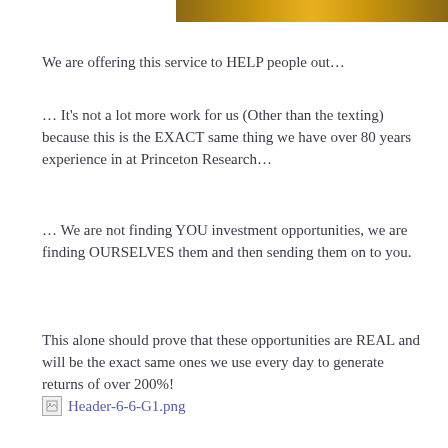[Figure (photo): Partial image strip at top of page showing a warm-toned photo (partially cropped header image)]
We are offering this service to HELP people out…
… It's not a lot more work for us (Other than the texting) because this is the EXACT same thing we have over 80 years experience in at Princeton Research…
… We are not finding YOU investment opportunities, we are finding OURSELVES them and then sending them on to you.
This alone should prove that these opportunities are REAL and will be the exact same ones we use every day to generate returns of over 200%!
[Figure (photo): Broken image placeholder with filename label 'Header-6-6-G1.png']